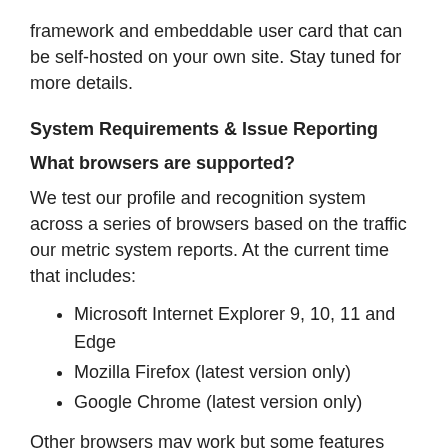framework and embeddable user card that can be self-hosted on your own site. Stay tuned for more details.
System Requirements & Issue Reporting
What browsers are supported?
We test our profile and recognition system across a series of browsers based on the traffic our metric system reports. At the current time that includes:
Microsoft Internet Explorer 9, 10, 11 and Edge
Mozilla Firefox (latest version only)
Google Chrome (latest version only)
Other browsers may work but some features may not be fully functional. Please note that Microsoft Internet Explorer 8 is no longer supported.